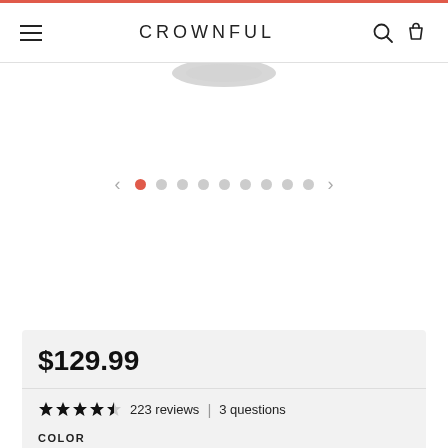CROWNFUL
[Figure (screenshot): Product image carousel showing bottom edge of a product (likely an air fryer), with pagination dots below. First dot is red/active, remaining 8 dots are gray. Left and right carousel arrows flank the dots.]
$129.99
★★★★½ 223 reviews | 3 questions
COLOR